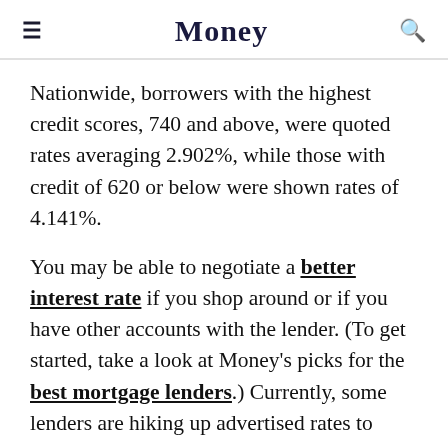Money
Nationwide, borrowers with the highest credit scores, 740 and above, were quoted rates averaging 2.902%, while those with credit of 620 or below were shown rates of 4.141%.
You may be able to negotiate a better interest rate if you shop around or if you have other accounts with the lender. (To get started, take a look at Money's picks for the best mortgage lenders.) Currently, some lenders are hiking up advertised rates to